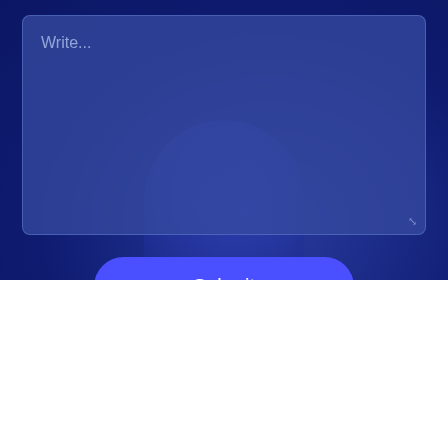[Figure (screenshot): A dark navy blue background section showing a UI form with a text area input containing placeholder text 'Write...' and a resize handle in the bottom-right corner, overlaid on a dark blue background with a faint person silhouette.]
Write...
Submit